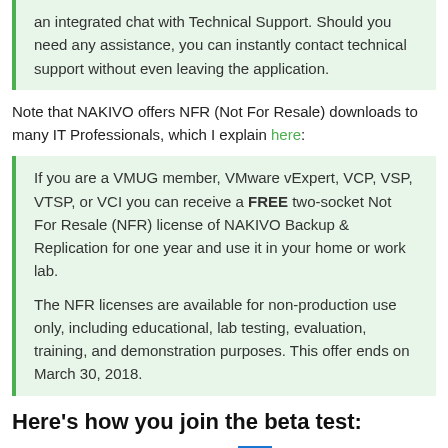an integrated chat with Technical Support. Should you need any assistance, you can instantly contact technical support without even leaving the application.
Note that NAKIVO offers NFR (Not For Resale) downloads to many IT Professionals, which I explain here:
If you are a VMUG member, VMware vExpert, VCP, VSP, VTSP, or VCI you can receive a FREE two-socket Not For Resale (NFR) license of NAKIVO Backup & Replication for one year and use it in your home or work lab.

The NFR licenses are available for non-production use only, including educational, lab testing, evaluation, training, and demonstration purposes. This offer ends on March 30, 2018.
Here's how you join the beta test:
Full program details here:
Get an Amazon Gift Card
[Figure (screenshot): NAKIVO application screenshot showing logo and server rack photo]